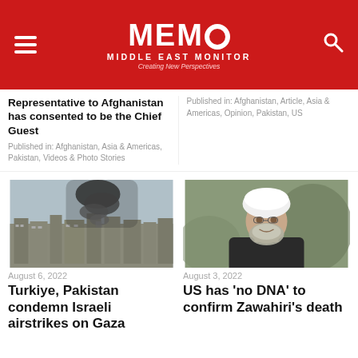MEMO MIDDLE EAST MONITOR — Creating New Perspectives
Representative to Afghanistan has consented to be the Chief Guest
Published in: Afghanistan, Asia & Americas, Pakistan, Videos & Photo Stories
Published in: Afghanistan, Article, Asia & Americas, Opinion, Pakistan, US
[Figure (photo): Aerial view of Gaza cityscape with large dark smoke plume rising from buildings after Israeli airstrikes]
August 6, 2022
Turkiye, Pakistan condemn Israeli airstrikes on Gaza
[Figure (photo): Portrait of an elderly bearded man wearing a white turban and dark jacket, believed to be Zawahiri]
August 3, 2022
US has 'no DNA' to confirm Zawahiri's death